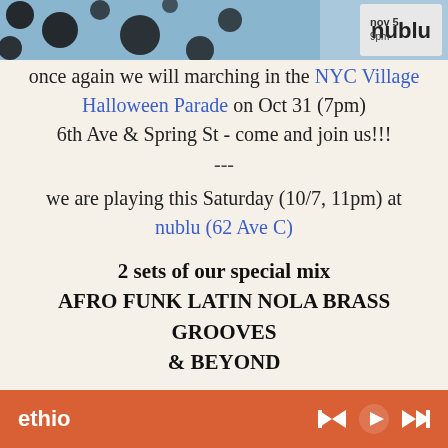[Figure (photo): Top banner image showing event flyer with 'nov 5 9pm' and 'nublu' logo on dark background with polka dot pattern]
once again we will marching in the NYC Village Halloween Parade on Oct 31 (7pm)
6th Ave & Spring St - come and join us!!!
---
we are playing this Saturday (10/7, 11pm) at
nublu (62 Ave C)
2 sets of our special mix
AFRO FUNK LATIN NOLA BRASS GROOVES
& BEYOND
DJ Memos spinning all night
$10 at the door
---
summer comes to an end and we are back at
ethio